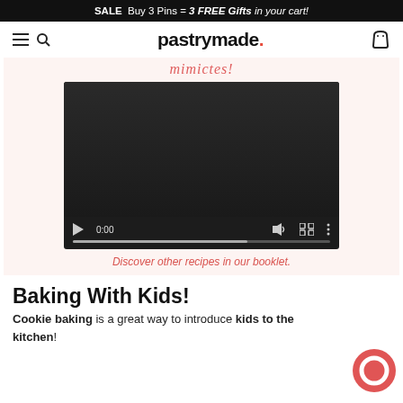SALE  Buy 3 Pins = 3 FREE Gifts in your cart!
pastrymade.
Discover other recipes in our booklet.
[Figure (screenshot): Embedded video player with dark background, showing 0:00 timestamp and playback controls including play, volume, fullscreen, and more options buttons, with a progress bar at the bottom.]
Baking With Kids!
Cookie baking is a great way to introduce kids to the kitchen!